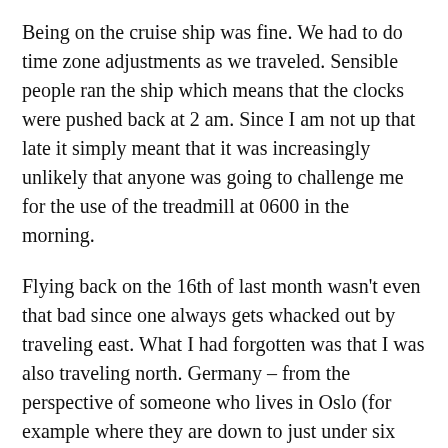Being on the cruise ship was fine. We had to do time zone adjustments as we traveled. Sensible people ran the ship which means that the clocks were pushed back at 2 am. Since I am not up that late it simply meant that it was increasingly unlikely that anyone was going to challenge me for the use of the treadmill at 0600 in the morning.
Flying back on the 16th of last month wasn't even that bad since one always gets whacked out by traveling east. What I had forgotten was that I was also traveling north. Germany – from the perspective of someone who lives in Oslo (for example where they are down to just under six hours of daylight) is not all that far north. But coming from Panama – let me just tell you that the change in hours of daylight was significant. Going off daylight savings time didn't help a bit. It was dark in the morning.
For the last month I have been fighting it – the creeping feeling that no one in their right mind has any business out and about when it is dark out there. No one who is